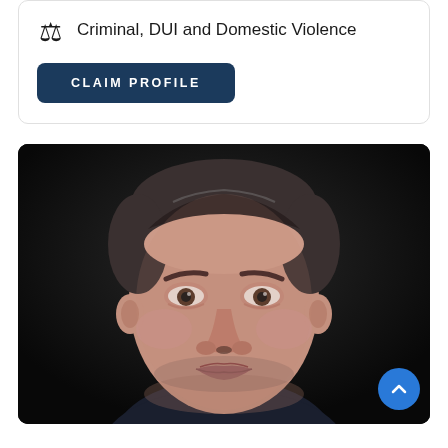Criminal, DUI and Domestic Violence
CLAIM PROFILE
[Figure (photo): Close-up headshot of a middle-aged man with short dark graying hair, wearing a dark suit jacket and white shirt, against a dark background]